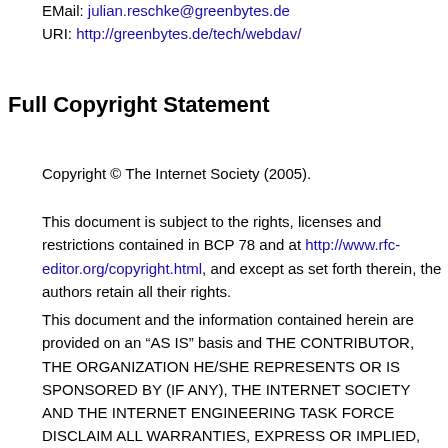EMail: julian.reschke@greenbytes.de
URI: http://greenbytes.de/tech/webdav/
Full Copyright Statement
Copyright © The Internet Society (2005).
This document is subject to the rights, licenses and restrictions contained in BCP 78 and at http://www.rfc-editor.org/copyright.html, and except as set forth therein, the authors retain all their rights.
This document and the information contained herein are provided on an “AS IS” basis and THE CONTRIBUTOR, THE ORGANIZATION HE/SHE REPRESENTS OR IS SPONSORED BY (IF ANY), THE INTERNET SOCIETY AND THE INTERNET ENGINEERING TASK FORCE DISCLAIM ALL WARRANTIES, EXPRESS OR IMPLIED, INCLUDING BUT NOT LIMITED TO ANY WARRANTY THAT THE USE OF THE INFORMATION HEREIN WILL